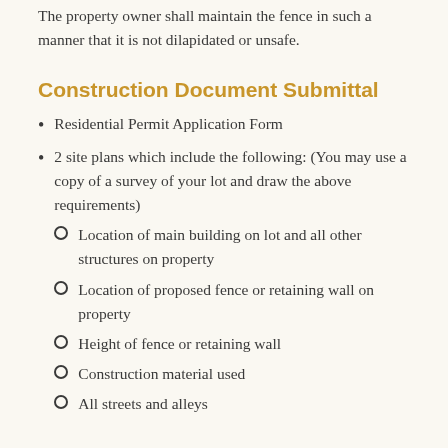The property owner shall maintain the fence in such a manner that it is not dilapidated or unsafe.
Construction Document Submittal
Residential Permit Application Form
2 site plans which include the following: (You may use a copy of a survey of your lot and draw the above requirements)
Location of main building on lot and all other structures on property
Location of proposed fence or retaining wall on property
Height of fence or retaining wall
Construction material used
All streets and alleys
Swimming Pools
Requirements